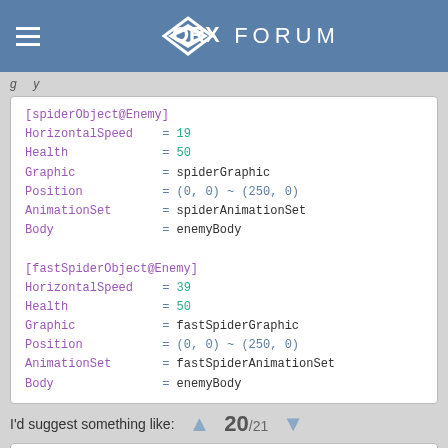ORX FORUM
(truncated/partial line above code box)
[spiderObject@Enemy]
HorizontalSpeed = 19
Health = 50
Graphic = spiderGraphic
Position = (0, 0) ~ (250, 0)
AnimationSet = spiderAnimationSet
Body = enemyBody

[fastSpiderObject@Enemy]
HorizontalSpeed = 39
Health = 50
Graphic = fastSpiderGraphic
Position = (0, 0) ~ (250, 0)
AnimationSet = fastSpiderAnimationSet
Body = enemyBody
I'd suggest something like:
20/21
[spiderObject@Enemy]
HorizontalSpeed = 19
Health = 50